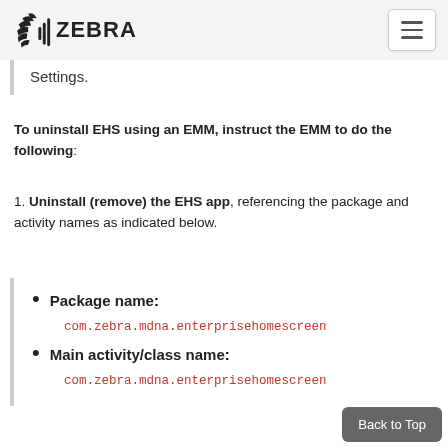ZEBRA (logo and navigation)
Settings.
To uninstall EHS using an EMM, instruct the EMM to do the following:
1. Uninstall (remove) the EHS app, referencing the package and activity names as indicated below.
Package name: com.zebra.mdna.enterprisehomescreen
Main activity/class name: com.zebra.mdna.enterprisehomescreen
2. OPTIONAL: If a new enterprisehomescre... configuration file will be deployed with the new version